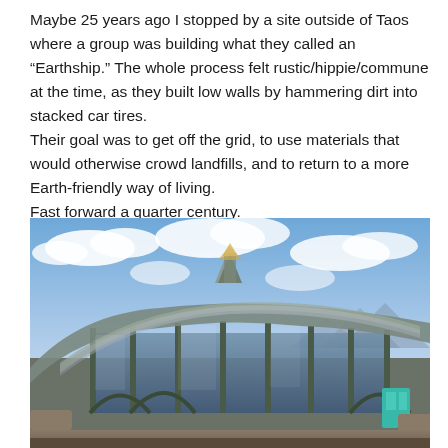Maybe 25 years ago I stopped by a site outside of Taos where a group was building what they called an “Earthship.” The whole process felt rustic/hippie/commune at the time, as they built low walls by hammering dirt into stacked car tires.
Their goal was to get off the grid, to use materials that would otherwise crowd landfills, and to return to a more Earth-friendly way of living.
Fast forward a quarter century.
[Figure (photo): Exterior photograph of an Earthship building near Taos, New Mexico. The structure features a curved, tent-like glass and metal roof with unusual organic architectural shapes. Large windows span the front facade. The building uses recycled materials and sustainable design. A partly cloudy blue sky is visible in the background, with mountains in the distance.]